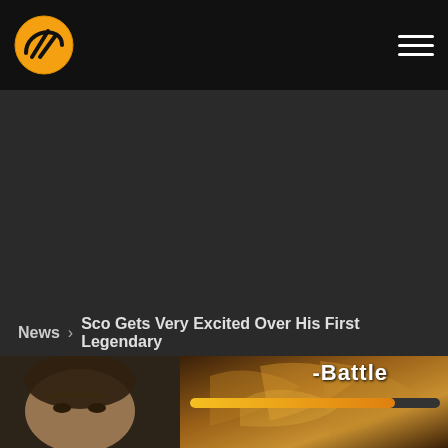[Figure (logo): Orange circle logo with stylized M/arrow icon in black on orange background]
[Figure (illustration): Hamburger menu icon - three horizontal white lines on dark background]
[Figure (screenshot): Dark gaming screenshot area showing a game interface with golden dragon art and a face on the bottom left. A progress/HP bar is visible. Text overlay reads '-Battle']
News > Sco Gets Very Excited Over His First Legendary
-Battle